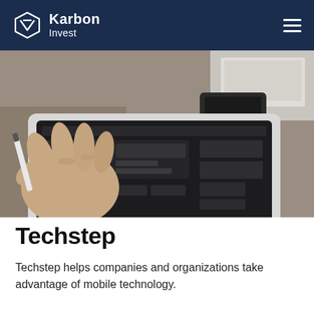Karbon Invest
[Figure (photo): A person using a stylus on a tablet displaying a dark interface with UI wireframes; a smartphone and laptop are also visible on a wooden desk.]
Techstep
Techstep helps companies and organizations take advantage of mobile technology.